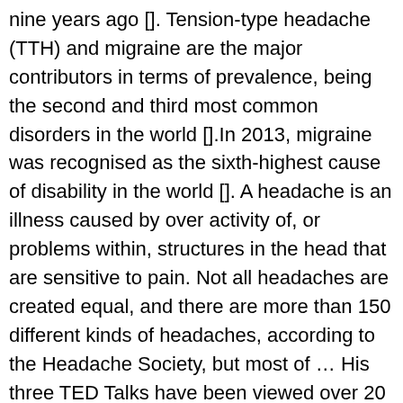nine years ago []. Tension-type headache (TTH) and migraine are the major contributors in terms of prevalence, being the second and third most common disorders in the world [].In 2013, migraine was recognised as the sixth-highest cause of disability in the world []. A headache is an illness caused by over activity of, or problems within, structures in the head that are sensitive to pain. Not all headaches are created equal, and there are more than 150 different kinds of headaches, according to the Headache Society, but most of … His three TED Talks have been viewed over 20 million times, and his science-based self-help books have been translated into 26 languages. Some are short. Tension headache. Sadly, it's also a primary cause of all kinds of bodily troubles, including headaches. So How Much Salt Should You Consume? "Hangover" headaches fall into this category as well. Other organizations recommend 2,300mg daily. Headache: سر درد Sar Dard: pain in the head caused by dilation of cerebral arteries or muscle contractions or a reaction to drugs. HAZ CLICK AQUÍ. ¿Quiénes somos? Another word for nausea. The